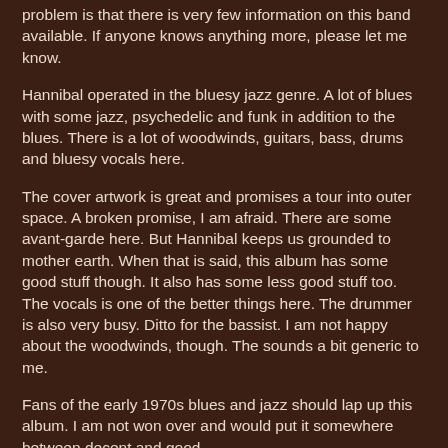problem is that there is very few information on this band available. If anyone knows anything more, please let me know.
Hannibal operated in the bluesy jazz genre. A lot of blues with some jazz, psychedelic and funk in addition to the blues. There is a lot of woodwinds, guitars, bass, drums and bluesy vocals here.
The cover artwork is great and promises a tour into outer space. A broken promise, I am afraid. There are some avant-garde here. But Hannibal keeps us grounded to mother earth. When that is said, this album has some good stuff though. It also has some less good stuff too. The vocals is one of the better things here. The drummer is also very busy. Ditto for the bassist. I am not happy about the woodwinds, though. The sounds a bit generic to me.
Fans of the early 1970s blues and jazz should lap up this album. I am not won over and would put it somewhere between decent and good.